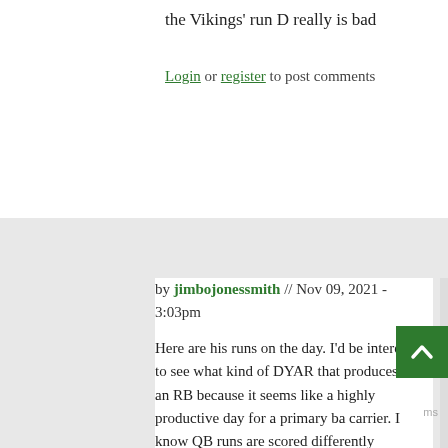the Vikings' run D really is bad
Login or register to post comments
39  Lamar's runs
by jimbojonessmith // Nov 09, 2021 - 3:03pm
Here are his runs on the day. I'd be interested to see what kind of DYAR that produces for an RB because it seems like a highly productive day for a primary ball carrier. I know QB runs are scored differently
Productive Carries